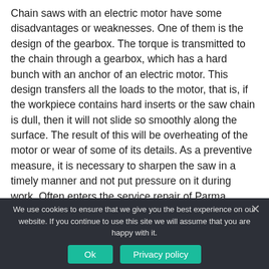Chain saws with an electric motor have some disadvantages or weaknesses. One of them is the design of the gearbox. The torque is transmitted to the chain through a gearbox, which has a hard bunch with an anchor of an electric motor. This design transfers all the loads to the motor, that is, if the workpiece contains hard inserts or the saw chain is dull, then it will not slide so smoothly along the surface. The result of this will be overheating of the motor or wear of some of its details. As a preventive measure, it is necessary to sharpen the saw in a timely manner and not put pressure on it during work. Often enters the service repair of Parma electric saw with this kind of fault.
We use cookies to ensure that we give you the best experience on our website. If you continue to use this site we will assume that you are happy with it.